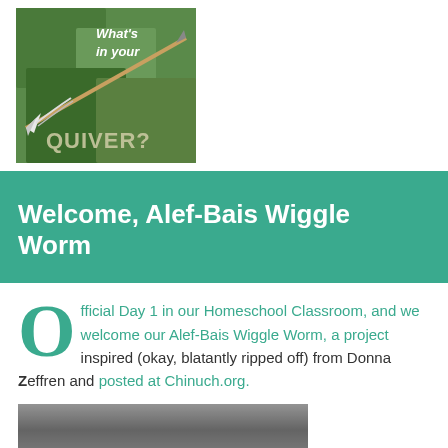[Figure (photo): Photo of an arrow/quiver with text overlay reading 'What's in your QUIVER?']
Welcome, Alef-Bais Wiggle Worm
Official Day 1 in our Homeschool Classroom, and we welcome our Alef-Bais Wiggle Worm, a project inspired (okay, blatantly ripped off) from Donna Zeffren and posted at Chinuch.org.
[Figure (photo): Partial photo at bottom of page, appears to be a grey/silver surface]